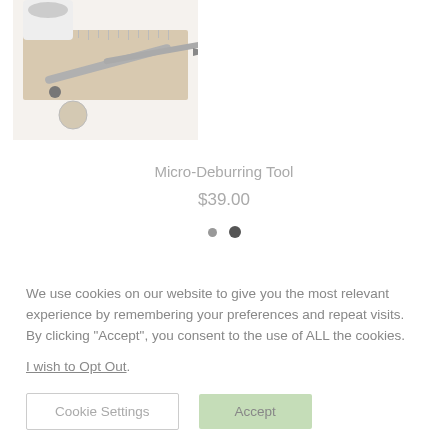[Figure (photo): Product photo of a micro-deburring tool with a small round cutting tip, displayed alongside other precision tool components on a ruler/measuring surface]
Micro-Deburring Tool
$39.00
[Figure (other): Carousel navigation dots — one smaller grey dot and one larger dark dot indicating current slide position]
We use cookies on our website to give you the most relevant experience by remembering your preferences and repeat visits. By clicking “Accept”, you consent to the use of ALL the cookies.
I wish to Opt Out.
Cookie Settings
Accept